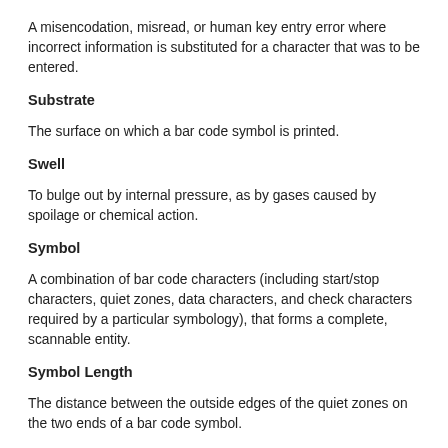A misencodation, misread, or human key entry error where incorrect information is substituted for a character that was to be entered.
Substrate
The surface on which a bar code symbol is printed.
Swell
To bulge out by internal pressure, as by gases caused by spoilage or chemical action.
Symbol
A combination of bar code characters (including start/stop characters, quiet zones, data characters, and check characters required by a particular symbology), that forms a complete, scannable entity.
Symbol Length
The distance between the outside edges of the quiet zones on the two ends of a bar code symbol.
Symbology
A generic list of bar code symbols and the architectural parameters of the encoded characters within each one.
T